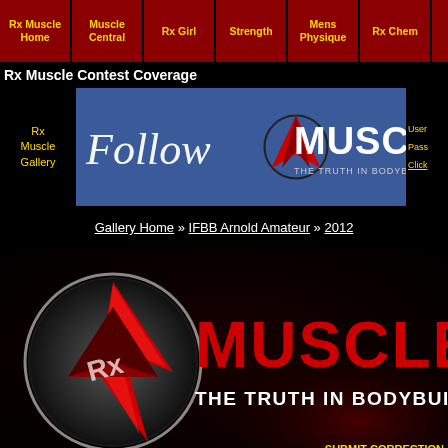Rx Muscle Home | Muscle Central | Rx Girl | Strength | Mens Physique | Rx Chem | Bros V Pros
Rx Muscle Contest Coverage
[Figure (logo): Follow Rx Muscle banner on blue background]
Rx Muscle Gallery
User | Pass | Click
Gallery Home » IFBB Arnold Amateur » 2012
[Figure (logo): Rx Muscle - The Truth In Bodybuilding logo on dark background]
SUBMIT CORRECTION